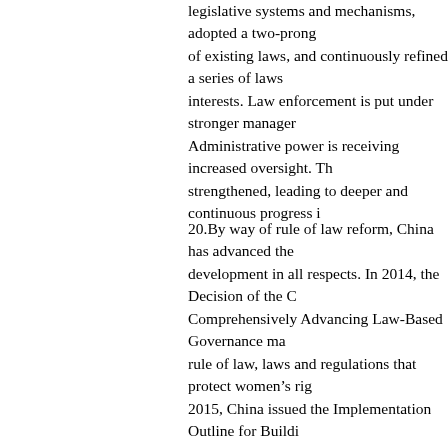legislative systems and mechanisms, adopted a two-prong approach of existing laws, and continuously refined a series of laws interests. Law enforcement is put under stronger management. Administrative power is receiving increased oversight. The strengthened, leading to deeper and continuous progress in
20.By way of rule of law reform, China has advanced the development in all respects. In 2014, the Decision of the C Comprehensively Advancing Law-Based Governance ma rule of law, laws and regulations that protect women's rights 2015, China issued the Implementation Outline for Building establish, by 2020, a law-based Government characterized rigorous enforcement of the law, openness and fairness, in
21.China takes domestic violence seriously. It has taken m Court, the Supreme People's Procuratorate, the Ministry of the Opinions on Lawfully Handling Several Issues on Gu 2014 and the Opinion on Lawfully Handling Criminal Ca conviction and punishment, and preventive measures for protection of the legitimate rights and interests of women Standing Committee in December 2015, clearly defined d established important systems such as mandatory individu agencies and personal protection orders, and constructed a suppression of domestic violence. Since the Anti-Domest judicial organs have earnestly performed their duties entru relevant departments to scale up a publicity campaign on